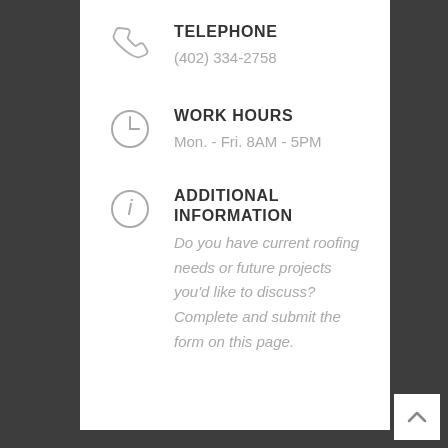TELEPHONE
(402) 334-2758
WORK HOURS
Mon. - Fri. 8AM - 5PM
ADDITIONAL INFORMATION
Do you have current roofing needs or future projects you'd like to discuss? Complete and submit the form on this page.